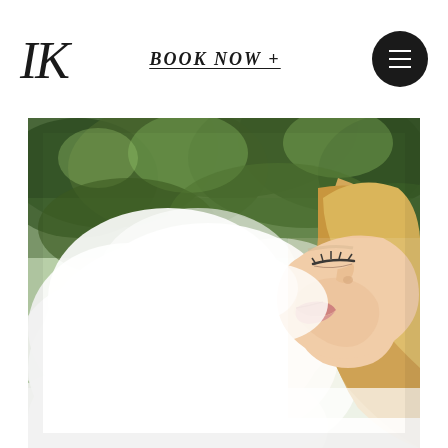IK — BOOK NOW + [hamburger menu]
[Figure (photo): A woman with long blonde hair tilting her head back with eyes closed, surrounded by white misty steam or smoke, with lush green trees in the background. The image has a soft, dreamy aesthetic.]